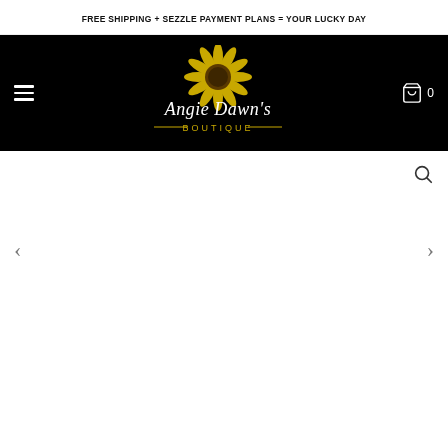FREE SHIPPING + SEZZLE PAYMENT PLANS = YOUR LUCKY DAY
[Figure (logo): Angie Dawn's Boutique logo — gold sunflower illustration above white cursive text 'Angie Dawn's' and gold serif text 'BOUTIQUE' on a black background]
[Figure (other): Website navigation area with hamburger menu on left, logo centered, shopping cart icon and '0' on right, all on black background. Below is a white content area with a search icon (magnifying glass) top-right, a left navigation arrow '<' and a right navigation arrow '>' with empty carousel/slide content area.]